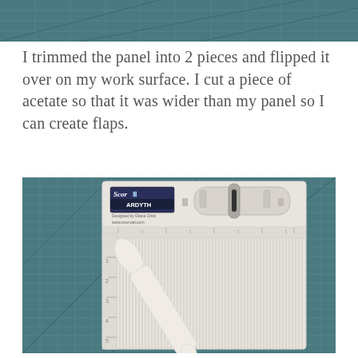[Figure (photo): Top portion of a photo showing a cutting mat with grid lines and diagonal lines, teal/dark green color, partially cropped at the top of the page.]
I trimmed the panel into 2 pieces and flipped it over on my work surface. I cut a piece of acetate so that it was wider than my panel so I can create flaps.
[Figure (photo): Photo of a Scor-Pal Ardyth scoring board designed by Diana Crick (www.scor-pal.com) placed on a teal cutting mat with grid lines. A white bone folder scoring tool is resting diagonally on the scoring board. The board has measurement markings and multiple score lines.]